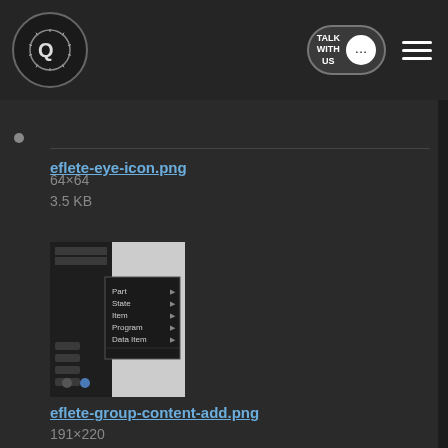[Figure (screenshot): Navigation bar with circular logo on left, 'TALK WITH US' button with speech bubble icon, and hamburger menu on right, on dark background]
eflete-eye-icon.png
64×64
3.5 KB
[Figure (screenshot): Thumbnail of eflete-group-content-add.png showing a dark UI panel with a context menu containing options: Part, State, Item, Program, Data Item]
eflete-group-content-add.png
191×220
27.8 KB
[Figure (screenshot): Thumbnail of eflete-groups.png showing a dark file tree/group panel with a blue highlighted row]
eflete-groups.png